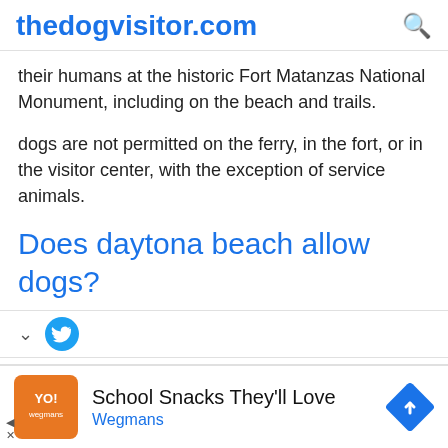thedogvisitor.com
their humans at the historic Fort Matanzas National Monument, including on the beach and trails.
dogs are not permitted on the ferry, in the fort, or in the visitor center, with the exception of service animals.
Does daytona beach allow dogs?
[Figure (other): Social sharing bar with chevron down icon and Twitter bird icon]
[Figure (other): Advertisement banner: Wegmans 'School Snacks They'll Love' with orange logo and navigation diamond icon]